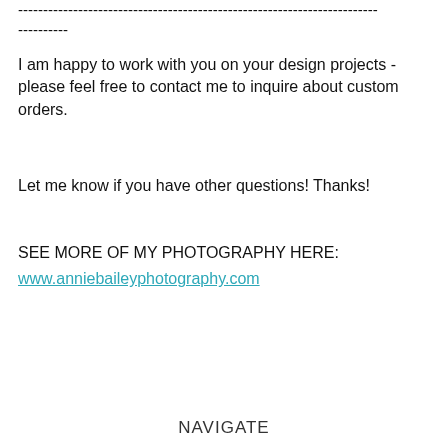------------------------------------------------------------------------
----------
I am happy to work with you on your design projects - please feel free to contact me to inquire about custom orders.
Let me know if you have other questions! Thanks!
SEE MORE OF MY PHOTOGRAPHY HERE:
www.anniebaileyphotography.com
NAVIGATE